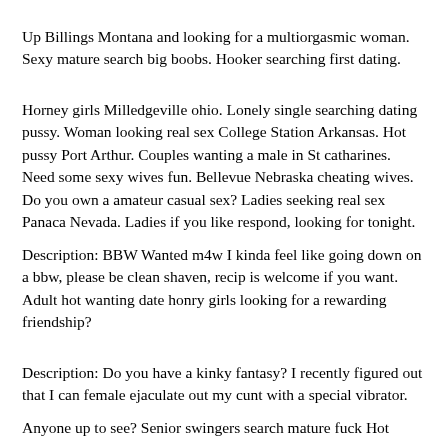Up Billings Montana and looking for a multiorgasmic woman. Sexy mature search big boobs. Hooker searching first dating.
Horney girls Milledgeville ohio. Lonely single searching dating pussy. Woman looking real sex College Station Arkansas. Hot pussy Port Arthur. Couples wanting a male in St catharines. Need some sexy wives fun. Bellevue Nebraska cheating wives. Do you own a amateur casual sex? Ladies seeking real sex Panaca Nevada. Ladies if you like respond, looking for tonight.
Description: BBW Wanted m4w I kinda feel like going down on a bbw, please be clean shaven, recip is welcome if you want. Adult hot wanting date honry girls looking for a rewarding friendship?
Description: Do you have a kinky fantasy? I recently figured out that I can female ejaculate out my cunt with a special vibrator.
Anyone up to see? Senior swingers search mature fuck Hot